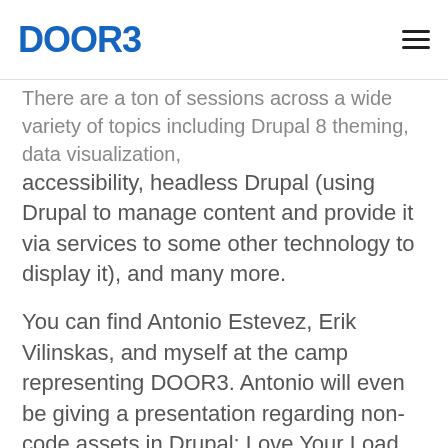DOOR3 [logo]
There are a ton of sessions across a wide variety of topics including Drupal 8 theming, data visualization, accessibility, headless Drupal (using Drupal to manage content and provide it via services to some other technology to display it), and many more.
You can find Antonio Estevez, Erik Vilinskas, and myself at the camp representing DOOR3. Antonio will even be giving a presentation regarding non-code assets in Drupal: Love Your Load Times.
Make sure to say hi if you see one of us in a session or at the awesome networking happy hours!